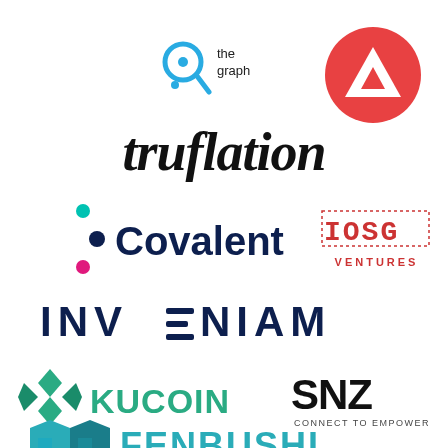[Figure (logo): The Graph logo - circular Q-like cyan icon with 'the graph' text]
[Figure (logo): Avalanche logo - red circle with white triangle/mountain shape]
[Figure (logo): truflation wordmark in bold black italic font]
[Figure (logo): Covalent logo - dark navy C icon with teal and pink dots, plus wordmark]
[Figure (logo): IOSG Ventures logo in dotted/pixelated red style]
[Figure (logo): INVENIAM wordmark in dark navy with horizontal lines in letters]
[Figure (logo): KuCoin logo - teal K-diamond icon with KUCOIN text]
[Figure (logo): SNZ Connect to Empower logo]
[Figure (logo): Fenbushi logo - partial view of teal building/shield icon and FENBUSHI text]